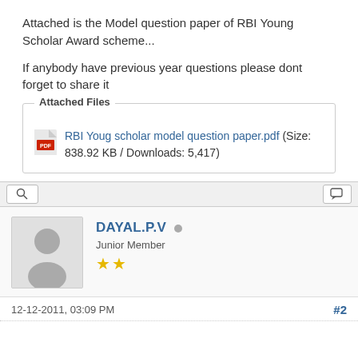Attached is the Model question paper of RBI Young Scholar Award scheme...
If anybody have previous year questions please dont forget to share it
Attached Files
RBI Youg scholar model question paper.pdf (Size: 838.92 KB / Downloads: 5,417)
[Figure (screenshot): Forum toolbar with search icon and chat icon]
DAYAL.P.V
Junior Member
★★
12-12-2011, 03:09 PM
#2